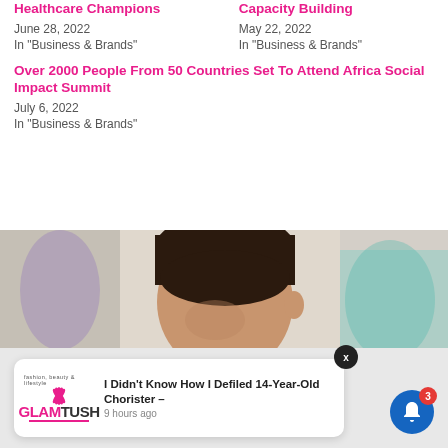Healthcare Champions
June 28, 2022
In "Business & Brands"
Capacity Building
May 22, 2022
In "Business & Brands"
Over 2000 People From 50 Countries Set To Attend Africa Social Impact Summit
July 6, 2022
In "Business & Brands"
[Figure (photo): A young boy looking downward, photographed in a classroom or similar setting. Other blurred figures visible in the background.]
I Didn't Know How I Defiled 14-Year-Old Chorister –
9 hours ago